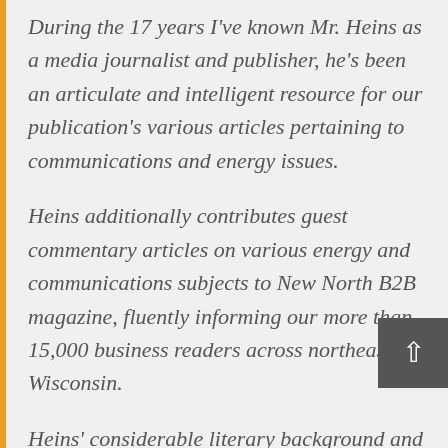During the 17 years I've known Mr. Heins as a media journalist and publisher, he's been an articulate and intelligent resource for our publication's various articles pertaining to communications and energy issues.
Heins additionally contributes guest commentary articles on various energy and communications subjects to New North B2B magazine, fluently informing our more than 15,000 business readers across northeast Wisconsin.
Heins' considerable literary background and respective demeanor has always engaged our readers with a colorful and unique perspective on federal and state